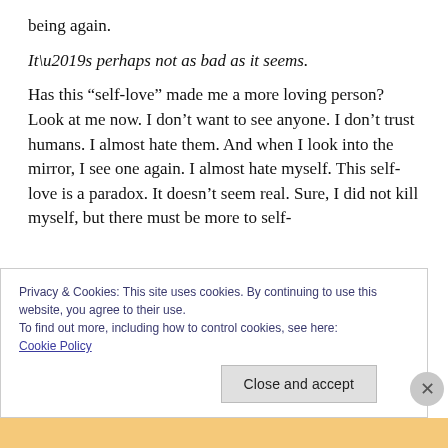being again.
It’s perhaps not as bad as it seems.
Has this “self-love” made me a more loving person? Look at me now. I don’t want to see anyone. I don’t trust humans. I almost hate them. And when I look into the mirror, I see one again. I almost hate myself. This self-love is a paradox. It doesn’t seem real. Sure, I did not kill myself, but there must be more to self-
Privacy & Cookies: This site uses cookies. By continuing to use this website, you agree to their use.
To find out more, including how to control cookies, see here: Cookie Policy
Close and accept